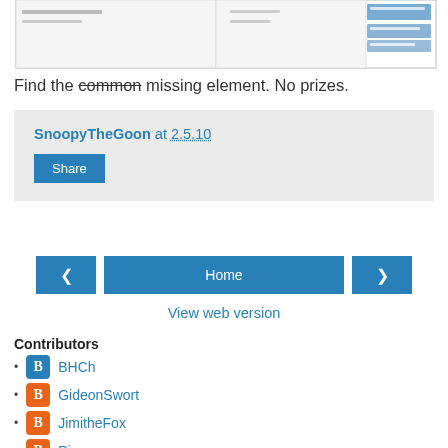[Figure (screenshot): Partial screenshot of a table or spreadsheet with blurred/small text, showing some highlighted cells in blue/gray on the right side.]
Find the common missing element. No prizes.
SnoopyTheGoon at 2.5.10 Share
Home View web version
Contributors
BHCh
GideonSwort
JimitheFox
Pisa
SimplySabra